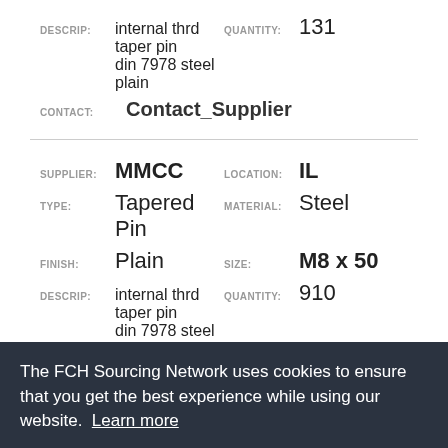DESCRIP: internal thrd taper pin din 7978 steel plain   QUANTITY: 131
CONTACT: Contact_Supplier
SUPPLIER: MMCC   LOCATION: IL
TYPE: Tapered Pin   MATERIAL: Steel
FINISH: Plain   SIZE: M8 x 50
DESCRIP: internal thrd taper pin din 7978 steel plain   QUANTITY: 910
The FCH Sourcing Network uses cookies to ensure that you get the best experience while using our website. Learn more
Got it!
DESCRIP: internal thrd taper pin   QUANTITY: 19